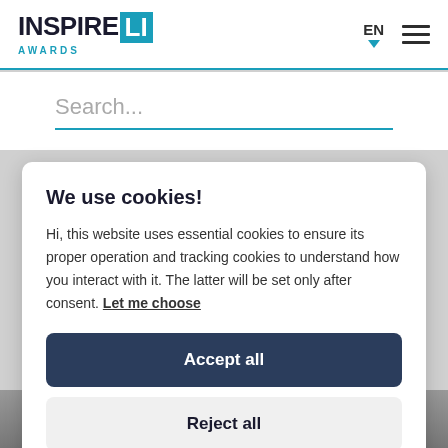[Figure (logo): INSPIRE LI AWARDS logo with teal square behind LI letters and teal AWARDS text below]
EN ▼
[Figure (other): Hamburger menu icon with three horizontal lines]
Search...
We use cookies!
Hi, this website uses essential cookies to ensure its proper operation and tracking cookies to understand how you interact with it. The latter will be set only after consent. Let me choose
Accept all
Reject all